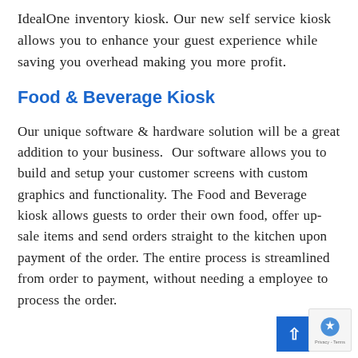IdealOne inventory kiosk. Our new self service kiosk allows you to enhance your guest experience while saving you overhead making you more profit.
Food & Beverage Kiosk
Our unique software & hardware solution will be a great addition to your business. Our software allows you to build and setup your customer screens with custom graphics and functionality. The Food and Beverage kiosk allows guests to order their own food, offer up-sale items and send orders straight to the kitchen upon payment of the order. The entire process is streamlined from order to payment, without needing a employee to process the order.